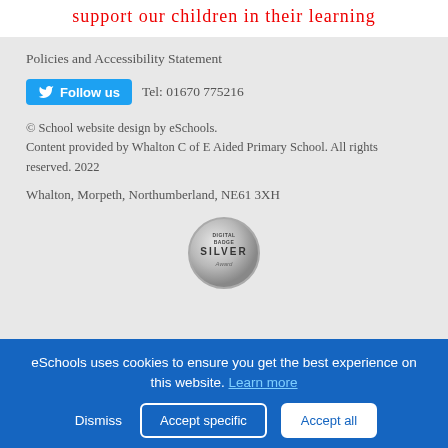support our children in their learning
Policies and Accessibility Statement
Follow us   Tel: 01670 775216
© School website design by eSchools. Content provided by Whalton C of E Aided Primary School. All rights reserved. 2022
Whalton, Morpeth, Northumberland, NE61 3XH
[Figure (logo): Silver award badge/seal circular logo]
eSchools uses cookies to ensure you get the best experience on this website. Learn more
Dismiss   Accept specific   Accept all